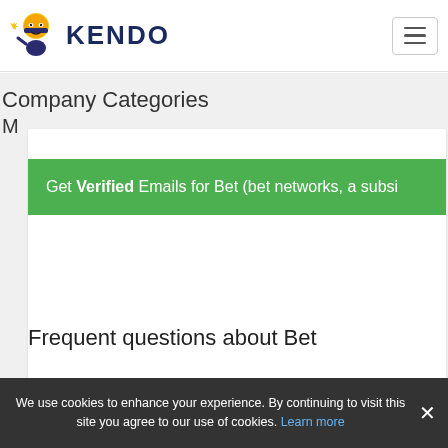KENDO
Company Categories
M
Get Verified Emails for Bet (bet networks, a subsi
Frequent questions about Bet
We use cookies to enhance your experience. By continuing to visit this site you agree to our use of cookies. Learn more